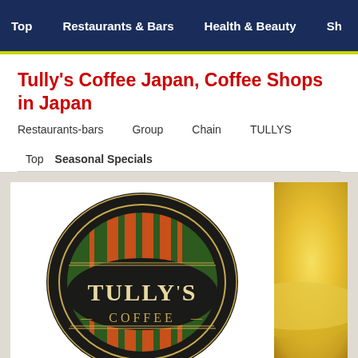Top   Restaurants & Bars   Health & Beauty   Sh...
Tully's Coffee Japan, Coffee Shops in Japan
Restaurants-bars   Group   Chain   TULLYS
Top   Seasonal Specials
[Figure (logo): Tully's Coffee oval logo with dark background, green and orange vertical stripes, and gold text reading TULLY'S COFFEE]
[Figure (photo): Close-up photo of a coffee cup with golden/yellow tones, partially visible on the right side]